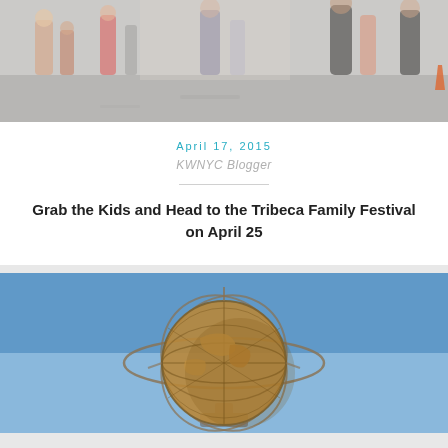[Figure (photo): Outdoor street scene with pedestrians walking on a sunny day, blurred background]
April 17, 2015
KWNYC Blogger
Grab the Kids and Head to the Tribeca Family Festival on April 25
[Figure (photo): The Unisphere globe sculpture against a blue sky]